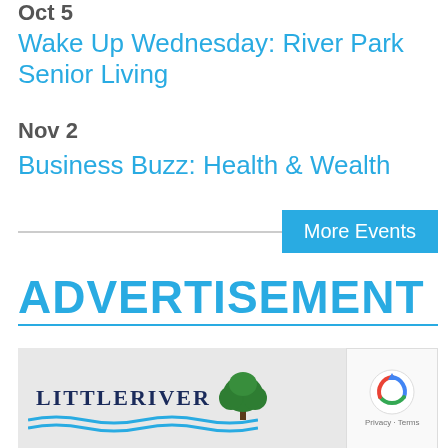Oct 5
Wake Up Wednesday: River Park Senior Living
Nov 2
Business Buzz: Health & Wealth
More Events
ADVERTISEMENT
[Figure (logo): Little River logo with green tree and blue water wave lines]